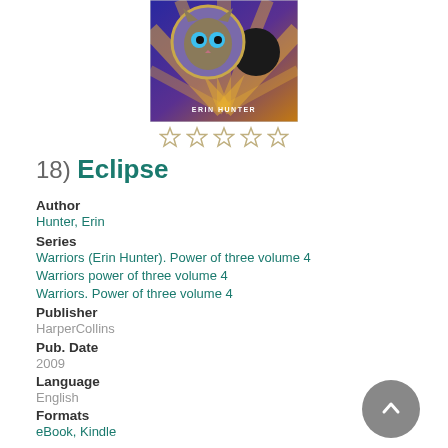[Figure (illustration): Book cover of Eclipse by Erin Hunter showing a cat with blue eyes in a circular frame against a purple and gold background with an eclipse]
[Figure (other): Five empty/unfilled star rating icons]
18) Eclipse
Author
Hunter, Erin
Series
Warriors (Erin Hunter). Power of three volume 4
Warriors power of three volume 4
Warriors. Power of three volume 4
Publisher
HarperCollins
Pub. Date
2009
Language
English
Formats
eBook, Kindle
Description
Read Description